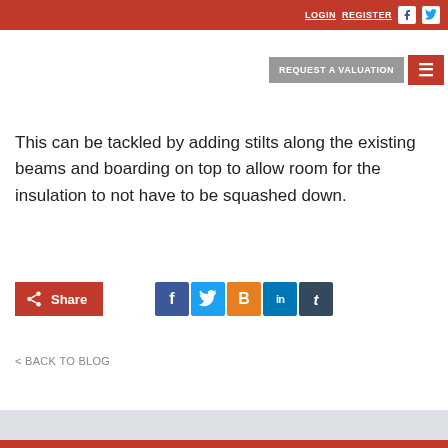LOGIN  REGISTER
[Figure (logo): William Thomas Associates logo - red square with building icon and company name]
ho
REQUEST A VALUATION
This can be tackled by adding stilts along the existing beams and boarding on top to allow room for the insulation to not have to be squashed down.
[Figure (other): Share button and social media icons: Facebook, Twitter, Blogger, LinkedIn, Tumblr]
< BACK TO BLOG